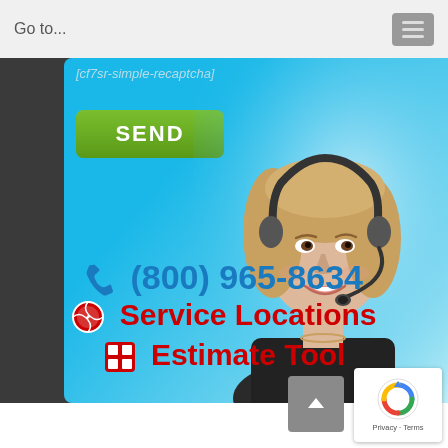Go to...
[cf7sr-simple-recaptcha]
SEND
[Figure (photo): Customer service representative — smiling blonde woman wearing a headset, on a light blue gradient background]
(800) 965-8634
Service Locations
Estimate Tool
[Figure (other): reCAPTCHA badge with rotating arrows logo and Privacy - Terms text]